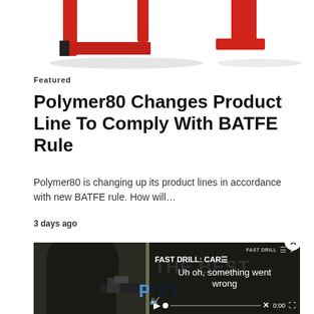[Figure (photo): Partial view of red product (gun-related accessory) on white background, cropped at top of page]
Featured
Polymer80 Changes Product Line To Comply With BATFE Rule
Polymer80 is changing up its product lines in accordance with new BATFE rule. How will…
3 days ago
[Figure (screenshot): Website screenshot showing a video thumbnail with a shooter holding a pistol with red dot sight, overlaid with white bold text 'THE BEST' and blue text 'PISTOL...' and a video player overlay on the right side showing 'FAST DRILL: CAR...' title with error message 'Uh oh, something went wrong', video controls including play button, mute, seek bar, timestamp 0:00, and fullscreen button. A close (X) button appears in the upper right of the video overlay.]